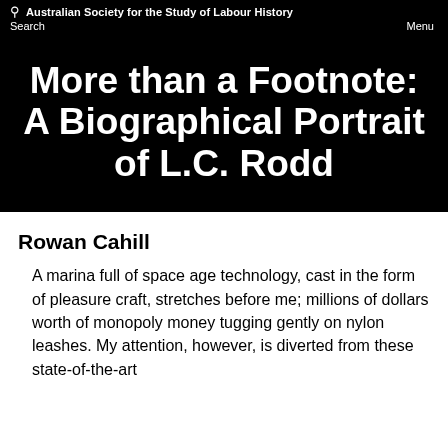Australian Society for the Study of Labour History
Search   Menu
More than a Footnote: A Biographical Portrait of L.C. Rodd
Rowan Cahill
A marina full of space age technology, cast in the form of pleasure craft, stretches before me; millions of dollars worth of monopoly money tugging gently on nylon leashes. My attention, however, is diverted from these state-of-the-art